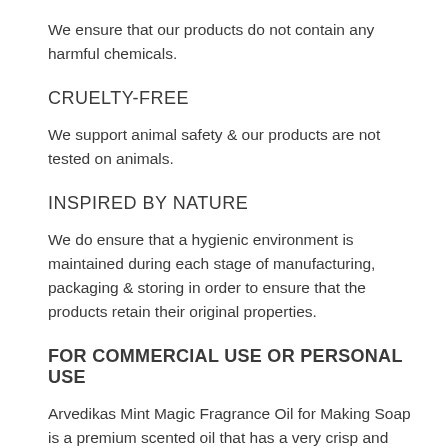We ensure that our products do not contain any harmful chemicals.
CRUELTY-FREE
We support animal safety & our products are not tested on animals.
INSPIRED BY NATURE
We do ensure that a hygienic environment is maintained during each stage of manufacturing, packaging & storing in order to ensure that the products retain their original properties.
FOR COMMERCIAL USE OR PERSONAL USE
Arvedikas Mint Magic Fragrance Oil for Making Soap is a premium scented oil that has a very crisp and clean mint